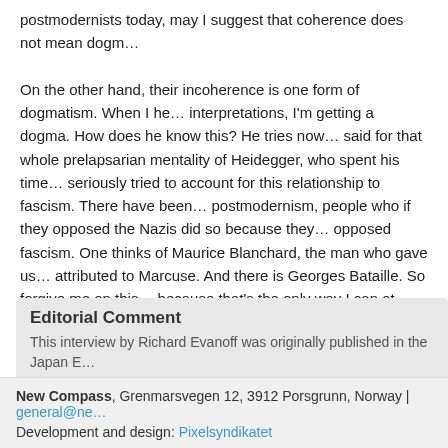postmodernists today, may I suggest that coherence does not mean dogm... On the other hand, their incoherence is one form of dogmatism. When I he... interpretations, I'm getting a dogma. How does he know this? He tries now... said for that whole prelapsarian mentality of Heidegger, who spent his time... seriously tried to account for this relationship to fascism. There have been... postmodernism, people who if they opposed the Nazis did so because they... opposed fascism. One thinks of Maurice Blanchard, the man who gave us... attributed to Marcuse. And there is Georges Bataille. So forgive me on this... because that's the only way I can at least even say that I have an idea that... Otherwise, I have to deny reality, and thereby toss out incoherent stateme... very common these days.
Editorial Comment
This interview by Richard Evanoff was originally published in the Japan E...
New Compass, Grenmarsvegen 12, 3912 Porsgrunn, Norway | general@ne... Development and design: Pixelsyndikatet